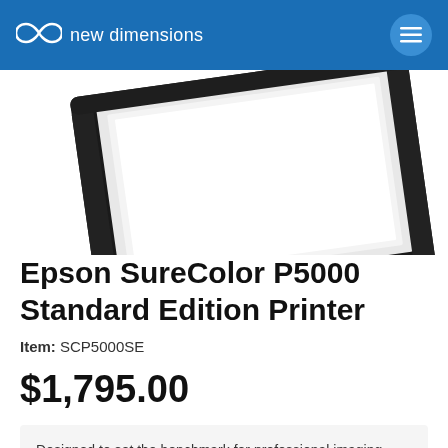new dimensions
[Figure (photo): Epson SureColor P5000 printer paper tray/feed mechanism shown from above against white background]
Epson SureColor P5000 Standard Edition Printer
Item: SCP5000SE
$1,795.00
Designed to set the benchmark for professional imaging excellence, the 17" Epson® SureColor P5000 Series offers a